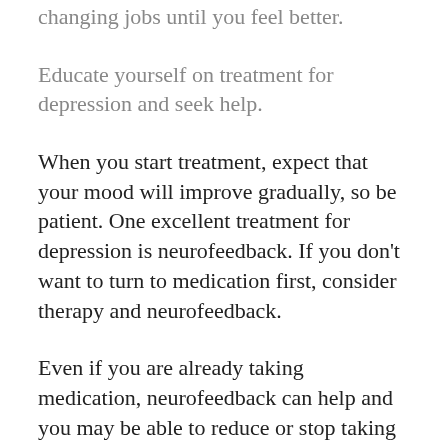changing jobs until you feel better.
Educate yourself on treatment for depression and seek help.
When you start treatment, expect that your mood will improve gradually, so be patient. One excellent treatment for depression is neurofeedback. If you don't want to turn to medication first, consider therapy and neurofeedback.
Even if you are already taking medication, neurofeedback can help and you may be able to reduce or stop taking prescriptions.
Many clients are able to treat their depression without taking medication.